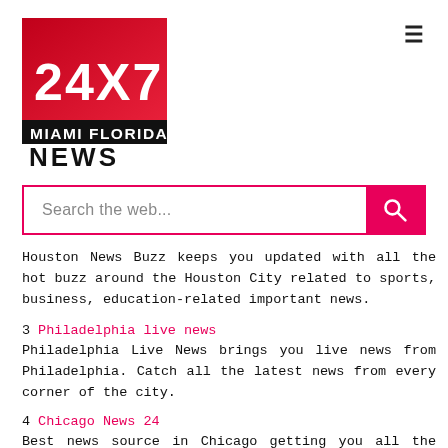[Figure (logo): 24X7 Miami Florida News logo — red gradient square with white bold '24X7' text above black bar with 'MIAMI FLORIDA' in white and 'NEWS' in large white bold text below]
Houston News Buzz keeps you updated with all the hot buzz around the Houston City related to sports, business, education-related important news.
3   Philadelphia live news
Philadelphia Live News brings you live news from Philadelphia. Catch all the latest news from every corner of the city.
4   Chicago News 24
Best news source in Chicago getting you all the breaking news related to politics, sports, education, business, and several other topics.
5   Los Angeles News wire
Some text bringing you news from Los Angeles...